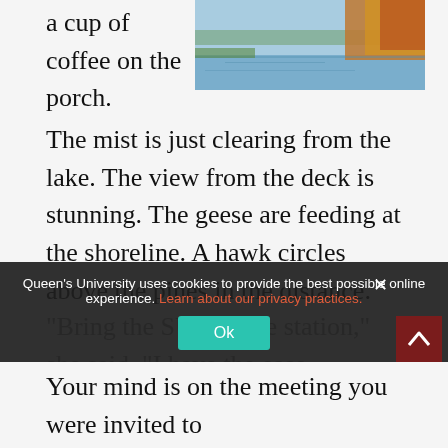a cup of coffee on the porch.
[Figure (photo): Autumn lake scene with trees reflecting in calm water, colorful foliage on right bank]
The mist is just clearing from the lake. The view from the deck is stunning. The geese are feeding at the shoreline. A hawk circles above the pines in the distance. Waves lap the deck, reminding you that you promised your cousin a kayaking lesson later this morning. He’s coming with your Aunt Sally on the train as part of the adventure. Aunt Sally recently discovered plein art painting.
“Bring the SUV to the station,” she said. “I have the ease…
Your mind is on the meeting you were invited to